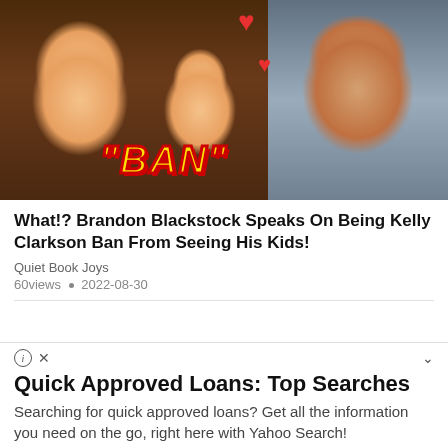[Figure (photo): Split image: left side shows Kelly Clarkson with two young children, right side shows Brandon Blackstock. Red hearts overlay the top center. Bold italic text '"BAN"' in yellow with red outline overlays the bottom center of the image.]
What!? Brandon Blackstock Speaks On Being Kelly Clarkson Ban From Seeing His Kids!
Quiet Book Joys
60views • 2022-08-30
Quick Approved Loans: Top Searches
Searching for quick approved loans? Get all the information you need on the go, right here with Yahoo Search!
continue